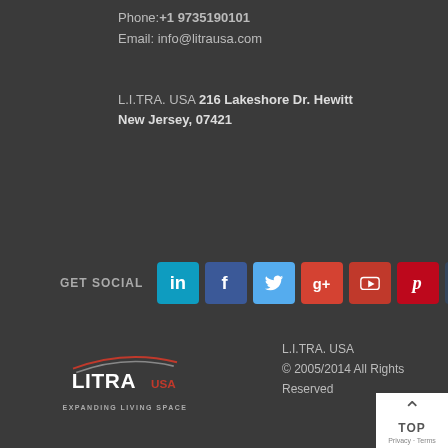Phone:+1 9735190101
Email: info@litrause.com
L.I.TRA. USA 216 Lakeshore Dr. Hewitt New Jersey, 07421
GET SOCIAL
[Figure (logo): LITRA USA logo with swoosh graphic and tagline EXPANDING LIVING SPACE]
L.I.TRA. USA © 2005/2014 All Rights Reserved